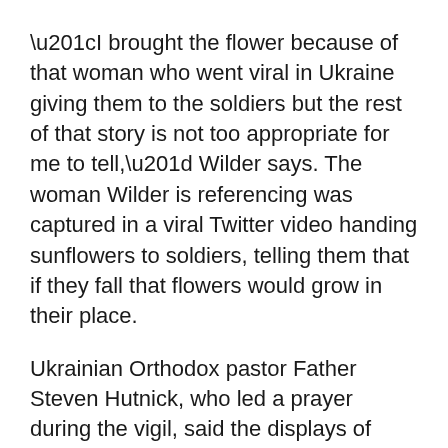“I brought the flower because of that woman who went viral in Ukraine giving them to the soldiers but the rest of that story is not too appropriate for me to tell,” Wilder says. The woman Wilder is referencing was captured in a viral Twitter video handing sunflowers to soldiers, telling them that if they fall that flowers would grow in their place.
Ukrainian Orthodox pastor Father Steven Hutnick, who led a prayer during the vigil, said the displays of support moved him as he looked out onto the crowd of over 50 that gathered at the riverwalk amphitheater.
“That was one of the things that actually brought tears to my eyes,” he said adding “there was a feeling of solidarity that all of that brought out.”